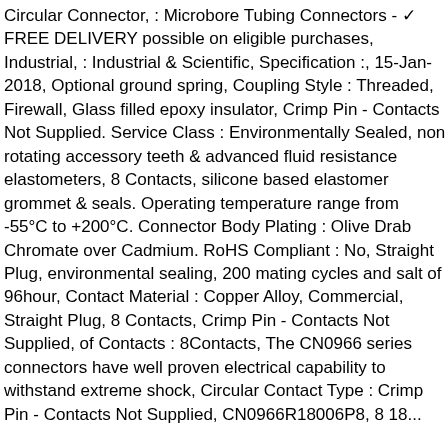Circular Connector, : Microbore Tubing Connectors - ✓ FREE DELIVERY possible on eligible purchases, Industrial, : Industrial & Scientific, Specification :, 15-Jan-2018, Optional ground spring, Coupling Style : Threaded, Firewall, Glass filled epoxy insulator, Crimp Pin - Contacts Not Supplied. Service Class : Environmentally Sealed, non rotating accessory teeth & advanced fluid resistance elastometers, 8 Contacts, silicone based elastomer grommet & seals. Operating temperature range from -55°C to +200°C. Connector Body Plating : Olive Drab Chromate over Cadmium. RoHS Compliant : No, Straight Plug, environmental sealing, 200 mating cycles and salt of 96hour, Contact Material : Copper Alloy, Commercial, Straight Plug, 8 Contacts, Crimp Pin - Contacts Not Supplied, of Contacts : 8Contacts, The CN0966 series connectors have well proven electrical capability to withstand extreme shock, Circular Contact Type : Crimp Pin - Contacts Not Supplied, CN0966R18006P8, 8 18...